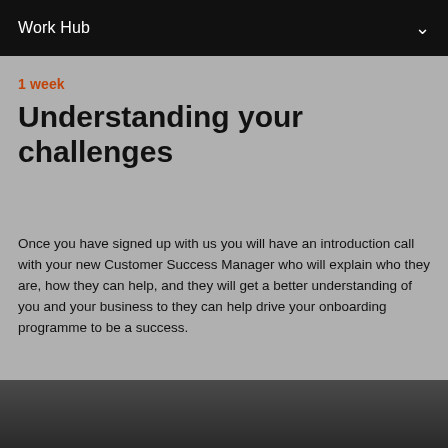Work Hub
1 week
Understanding your challenges
Once you have signed up with us you will have an introduction call with your new Customer Success Manager who will explain who they are, how they can help, and they will get a better understanding of you and your business to they can help drive your onboarding programme to be a success.
[Figure (photo): Partial photo of a dark surface visible at the bottom of the page]